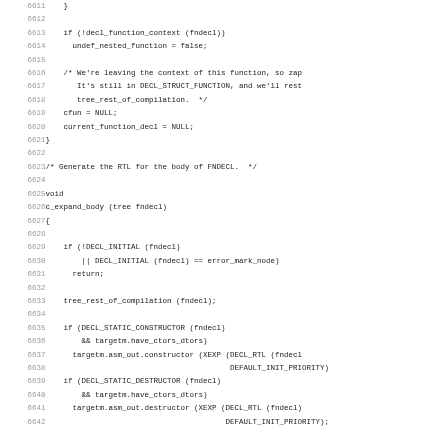Source code listing lines 6611-6642, C programming language code for function context management and c_expand_body function